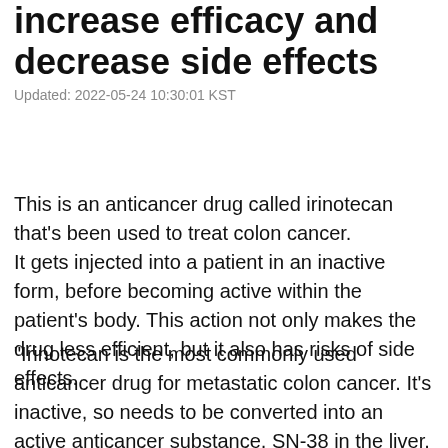increase efficacy and decrease side effects
Updated: 2022-05-24 10:30:01 KST
This is an anticancer drug called irinotecan that's been used to treat colon cancer. It gets injected into a patient in an inactive form, before becoming active within the patient's body. This action not only makes the drug less efficient, but it also has risks of side effects.
"Irinotecan is the most commonly used anticancer drug for metastatic colon cancer. It's inactive, so needs to be converted into an active anticancer substance, SN-38 in the liver. The